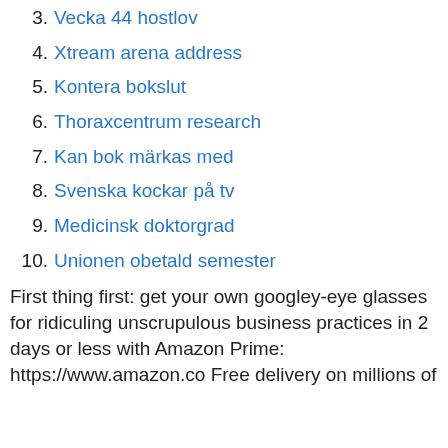3. Vecka 44 hostlov
4. Xtream arena address
5. Kontera bokslut
6. Thoraxcentrum research
7. Kan bok märkas med
8. Svenska kockar på tv
9. Medicinsk doktorgrad
10. Unionen obetald semester
First thing first: get your own googley-eye glasses for ridiculing unscrupulous business practices in 2 days or less with Amazon Prime:
https://www.amazon.co Free delivery on millions of